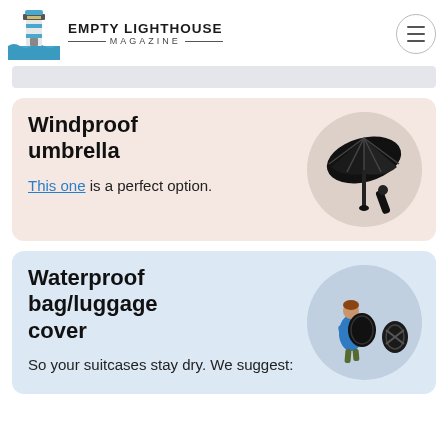EMPTY LIGHTHOUSE MAGAZINE
Windproof umbrella
This one is a perfect option.
Waterproof bag/luggage cover
So your suitcases stay dry. We suggest: